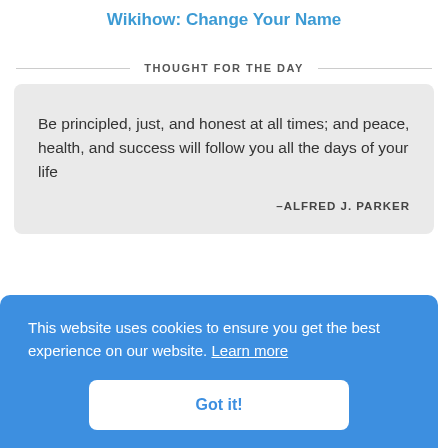Wikihow: Change Your Name
THOUGHT FOR THE DAY
Be principled, just, and honest at all times; and peace, health, and success will follow you all the days of your life
–ALFRED J. PARKER
This website uses cookies to ensure you get the best experience on our website. Learn more
Got it!